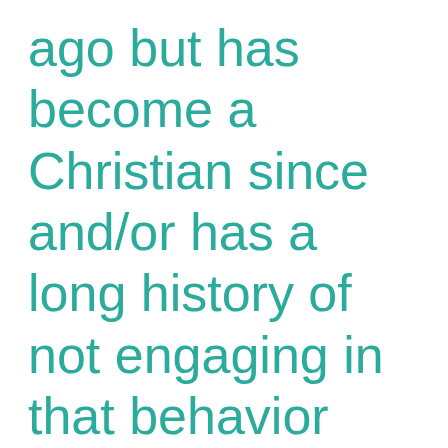ago but has become a Christian since and/or has a long history of not engaging in that behavior again? Shouldn’t we show grace to the person and let him participate in